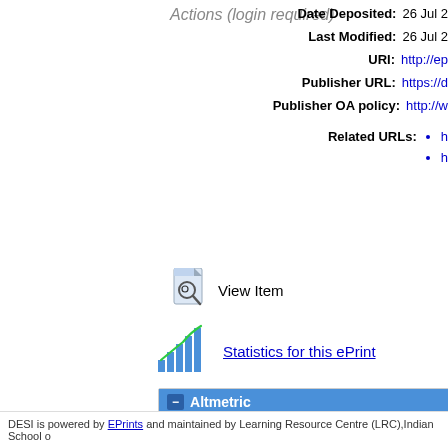Date Deposited: 26 Jul 2
Last Modified: 26 Jul 2
URI: http://ep
Publisher URL: https://d
Publisher OA policy: http://w
http://...
http://...
Actions (login required)
View Item
[Figure (illustration): Statistics bar chart icon for ePrint statistics link]
Statistics for this ePrint
Altmetric
DESI is powered by EPrints and maintained by Learning Resource Centre (LRC),Indian School o